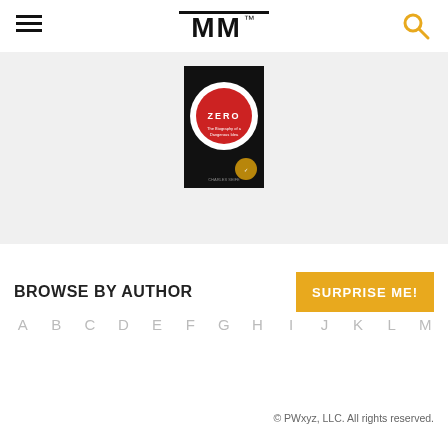MM (logo with TM mark)
[Figure (illustration): Book cover for 'Zero' displayed against a light gray background. The cover has a black background with a large red circle, white ring, and small text.]
BROWSE BY AUTHOR
SURPRISE ME!
A B C D E F G H I J K L M
© PWxyz, LLC. All rights reserved.